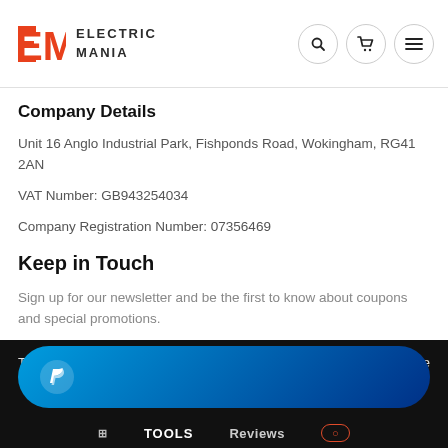ELECTRIC MANIA
Company Details
Unit 16 Anglo Industrial Park, Fishponds Road, Wokingham, RG41 2AN
VAT Number: GB943254034
Company Registration Number: 07356469
Keep in Touch
Sign up for our newsletter and be the first to know about coupons and special promotions.
[Figure (screenshot): PayPal payment button (blue gradient pill shape with PayPal P logo) overlaid on a black footer bar. Below shows partial navigation with Tools and Reviews labels.]